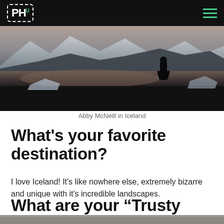PH (logo) navigation header
[Figure (photo): Abby McNeill standing on a dark volcanic black sand beach in Iceland with glacier/iceberg reflections in shallow water and dramatic dark sky and ice formations in background]
Abby McNeill in Iceland
What’s your favorite destination?
I love Iceland! It’s like nowhere else, extremely bizarre and unique with it's incredible landscapes.
What are your “Trusty Three” travel items?
[Figure (photo): Bottom strip of image, partially cut off]